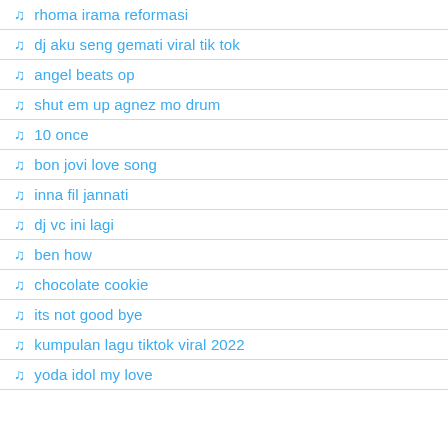rhoma irama reformasi
dj aku seng gemati viral tik tok
angel beats op
shut em up agnez mo drum
10 once
bon jovi love song
inna fil jannati
dj vc ini lagi
ben how
chocolate cookie
its not good bye
kumpulan lagu tiktok viral 2022
yoda idol my love